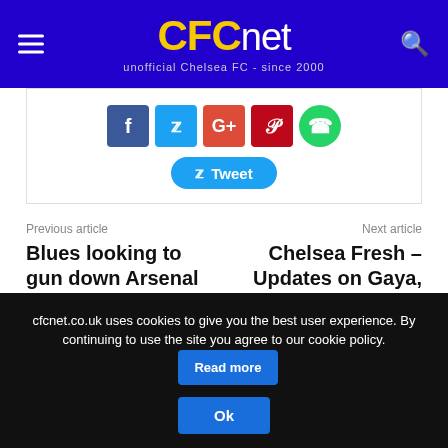CFCnet - unofficial Chelsea FC - since 2000
[Figure (screenshot): Social share buttons: Facebook, Twitter, Google+, Pinterest, WhatsApp, and a Tweet button]
Previous article
Blues looking to gun down Arsenal
Next article
Chelsea Fresh – Updates on Gaya, Ivanovic and Stones
RELATED ARTICLES   MORE FROM AUTHOR
cfcnet.co.uk uses cookies to give you the best user experience. By continuing to use the site you agree to our cookie policy.